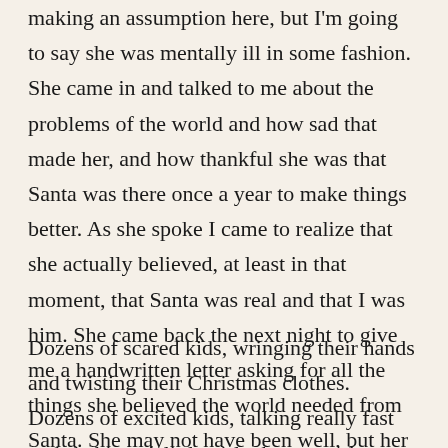making an assumption here, but I'm going to say she was mentally ill in some fashion. She came in and talked to me about the problems of the world and how sad that made her, and how thankful she was that Santa was there once a year to make things better. As she spoke I came to realize that she actually believed, at least in that moment, that Santa was real and that I was him. She came back the next night to give me a handwritten letter asking for all the things she believed the world needed from Santa. She may not have been well, but her wish list for the world was dead on.
Dozens of scared kids, wringing their hands and twisting their Christmas clothes. Dozens of excited kids, talking really fast and shaking. A little girl who ran and jumped